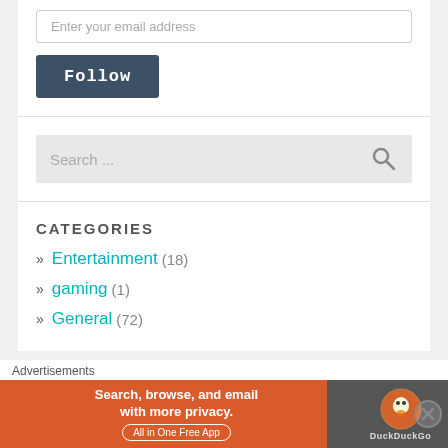Enter your email address
Follow
Search ...
CATEGORIES
» Entertainment (18)
» gaming (1)
» General (72)
Advertisements
[Figure (screenshot): DuckDuckGo advertisement banner: 'Search, browse, and email with more privacy. All in One Free App' on orange background with DuckDuckGo logo on dark background]